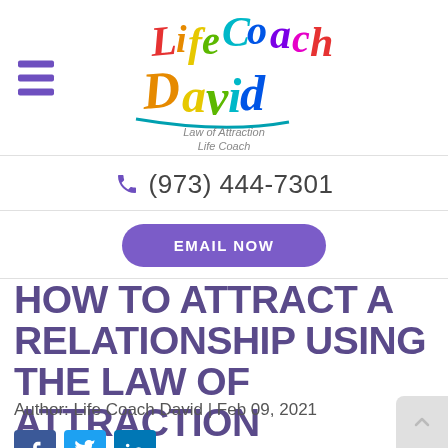[Figure (logo): Life Coach David - Law of Attraction Life Coach logo in rainbow colors with cursive script]
(973) 444-7301
EMAIL NOW
HOW TO ATTRACT A RELATIONSHIP USING THE LAW OF ATTRACTION
Author: Life Coach David | Feb 09, 2021